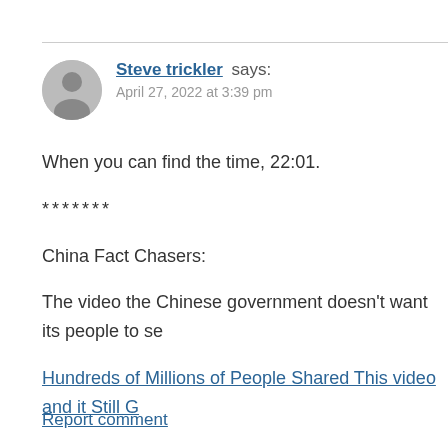Steve trickler says: April 27, 2022 at 3:39 pm
When you can find the time, 22:01.
*******
China Fact Chasers:
The video the Chinese government doesn’t want its people to se…
Hundreds of Millions of People Shared This video and it Still G…
Report comment